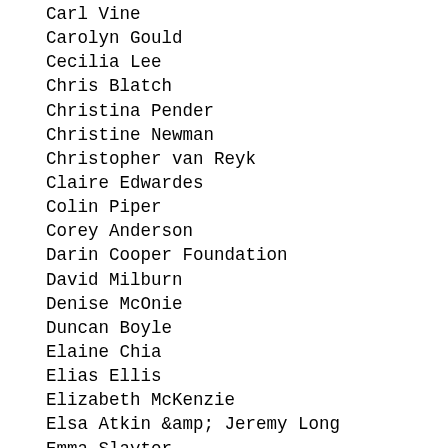Carl Vine
Carolyn Gould
Cecilia Lee
Chris Blatch
Christina Pender
Christine Newman
Christopher van Reyk
Claire Edwardes
Colin Piper
Corey Anderson
Darin Cooper Foundation
David Milburn
Denise McOnie
Duncan Boyle
Elaine Chia
Elias Ellis
Elizabeth McKenzie
Elsa Atkin &amp; Jeremy Long
Emma Slaytor
Eoin de Burca
Evan Roche
Fac Wright
Fiona Ormsby